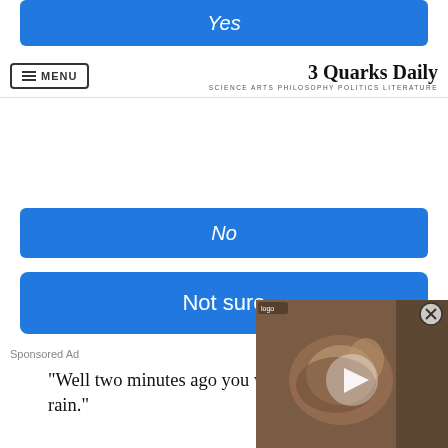[Figure (screenshot): Blue 'Yes' poll button at top, partially cropped]
MENU | 3 Quarks Daily — SCIENCE ARTS PHILOSOPHY POLITICS LITERATURE
[Figure (screenshot): Blue 'No' poll button]
[Figure (screenshot): Blue 'Not sure' poll button]
Sponsored Ad
“Well two minutes ago you were thinking about the rain.”
The guy with Soho looks at me: “Well were you?”
“Yes! I was! I am amazed! I about the rain. I was thinking jubilee and about how the du
[Figure (screenshot): Video overlay thumbnail showing an animal (otter/snake), with play button and close (X) button]